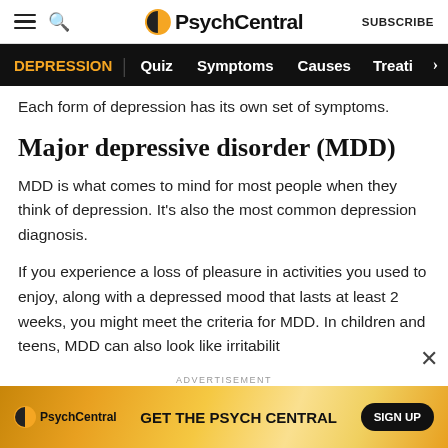PsychCentral — DEPRESSION | Quiz | Symptoms | Causes | Treati
Each form of depression has its own set of symptoms.
Major depressive disorder (MDD)
MDD is what comes to mind for most people when they think of depression. It's also the most common depression diagnosis.
If you experience a loss of pleasure in activities you used to enjoy, along with a depressed mood that lasts at least 2 weeks, you might meet the criteria for MDD. In children and teens, MDD can also look like irritabilit
[Figure (screenshot): PsychCentral advertisement banner: orange/yellow gradient background, PsychCentral logo, text 'GET THE PSYCH CENTRAL', and a black 'SIGN UP' button]